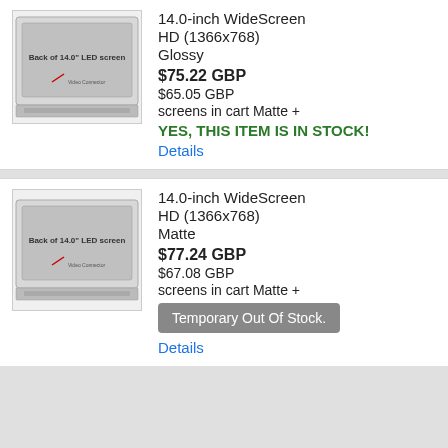[Figure (photo): Back view of 14.0 inch LED screen, showing connector bar at bottom]
14.0-inch WideScreen
HD (1366x768)
Glossy
$75.22 GBP
$65.05 GBP
screens in cart Matte +
YES, THIS ITEM IS IN STOCK!
Details
[Figure (photo): Back view of 14.0 inch LED screen, showing connector bar at bottom]
14.0-inch WideScreen
HD (1366x768)
Matte
$77.24 GBP
$67.08 GBP
screens in cart Matte +
Temporary Out Of Stock.
Details